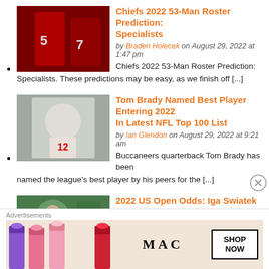Chiefs 2022 53-Man Roster Prediction: Specialists — by Braden Holecek on August 29, 2022 at 1:47 pm — Chiefs 2022 53-Man Roster Prediction: Specialists. These predictions may be easy, as we finish off [...]
Tom Brady Named Best Player Entering 2022 In Latest NFL Top 100 List — by Ian Glendon on August 29, 2022 at 9:21 am — Buccaneers quarterback Tom Brady has been named the league's best player by his peers for the [...]
2022 US Open Odds: Iga Swiatek Oddsmakers Favorite To Win
Advertisements
[Figure (illustration): MAC Cosmetics advertisement banner with lipsticks and SHOP NOW button]